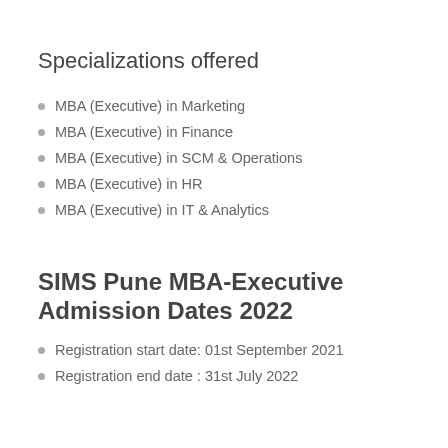Specializations offered
MBA (Executive) in Marketing
MBA (Executive) in Finance
MBA (Executive) in SCM & Operations
MBA (Executive) in HR
MBA (Executive) in IT & Analytics
SIMS Pune MBA-Executive Admission Dates 2022
Registration start date: 01st September 2021
Registration end date : 31st July 2022